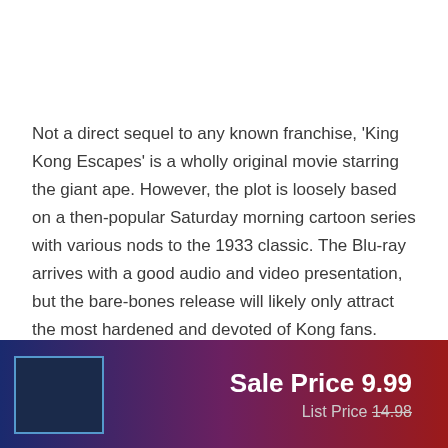Not a direct sequel to any known franchise, 'King Kong Escapes' is a wholly original movie starring the giant ape. However, the plot is loosely based on a then-popular Saturday morning cartoon series with various nods to the 1933 classic. The Blu-ray arrives with a good audio and video presentation, but the bare-bones release will likely only attract the most hardened and devoted of Kong fans.
Sale Price 9.99
List Price 14.98